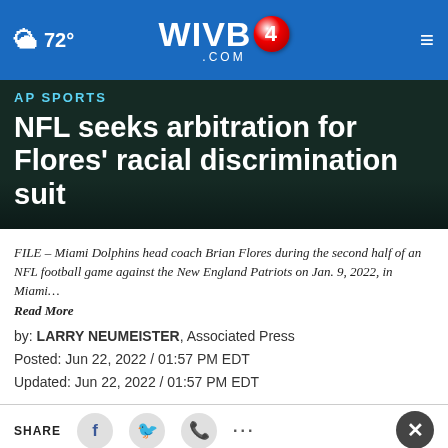WIVB4.COM | 72°
AP SPORTS
NFL seeks arbitration for Flores' racial discrimination suit
FILE – Miami Dolphins head coach Brian Flores during the second half of an NFL football game against the New England Patriots on Jan. 9, 2022, in Miami… Read More
by: LARRY NEUMEISTER, Associated Press
Posted: Jun 22, 2022 / 01:57 PM EDT
Updated: Jun 22, 2022 / 01:57 PM EDT
[Figure (other): Advertisement banner for The Vinyl Outlet: Summer Fence SALE SAVE UP TO 20% OFF, Call Now to Save!]